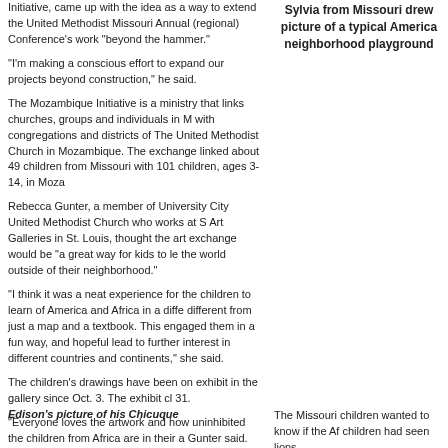Initiative, came up with the idea as a way to extend the United Methodist Missouri Annual (regional) Conference's work "beyond the hammer."
"I'm making a conscious effort to expand our projects beyond construction," he said.
The Mozambique Initiative is a ministry that links churches, groups and individuals in M with congregations and districts of The United Methodist Church in Mozambique. The exchange linked about 49 children from Missouri with 101 children, ages 3-14, in Moza
Rebecca Gunter, a member of University City United Methodist Church who works at S Art Galleries in St. Louis, thought the art exchange would be "a great way for kids to le the world outside of their neighborhood."
"I think it was a neat experience for the children to learn of America and Africa in a diffe different from just a map and a textbook. This engaged them in a fun way, and hopeful lead to further interest in different countries and continents," she said.
The children's drawings have been on exhibit in the gallery since Oct. 3. The exhibit cl 31.
"Everyone loves the artwork and how uninhibited the children from Africa are in their a Gunter said.
Where are the lions?
Children from Kid's Place, a mostly African-American after-school program at Universi Methodist Church, sent their art to Chicuque United Methodist Church.
When the Mozambique children saw the pictures from Missouri, they thought the art w an African school because most of the drawings showed children with dark skin, Mitch They were surprised to learn there were people with dark skin in the United States.
Sylvia from Missouri drew picture of a typical America neighborhood playground
The Missouri children wanted to know if the Af children had seen lions.
Edison's picture of his Chicuque